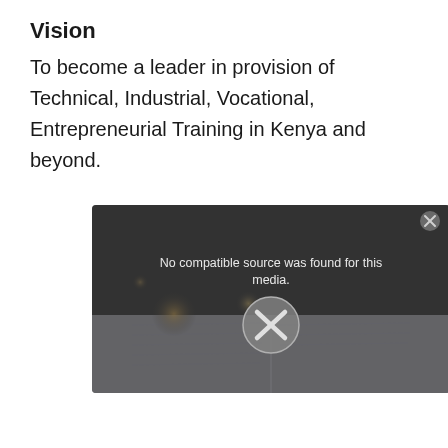Vision
To become a leader in provision of Technical, Industrial, Vocational, Entrepreneurial Training in Kenya and beyond.
[Figure (screenshot): Video player placeholder showing a blurred bokeh background with an open book. Overlay text reads 'No compatible source was found for this media.' with a large X button in the center and a close button (circle with x) in the top right corner.]